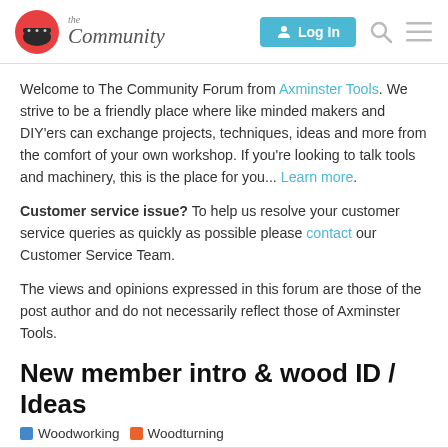[Figure (logo): The Community forum logo with a red circular icon and italic script text]
Welcome to The Community Forum from Axminster Tools. We strive to be a friendly place where like minded makers and DIY'ers can exchange projects, techniques, ideas and more from the comfort of your own workshop. If you're looking to talk tools and machinery, this is the place for you... Learn more.
Customer service issue? To help us resolve your customer service queries as quickly as possible please contact our Customer Service Team.
The views and opinions expressed in this forum are those of the post author and do not necessarily reflect those of Axminster Tools.
New member intro & wood ID / Ideas
Woodworking  Woodturning